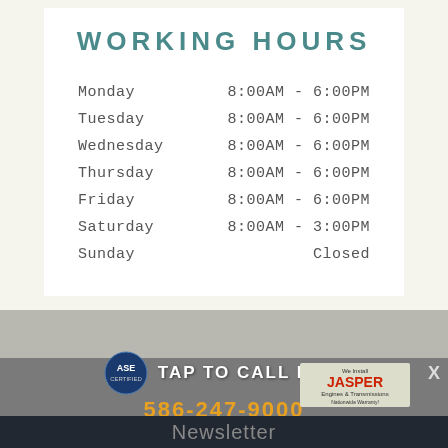WORKING HOURS
| Day | Hours |
| --- | --- |
| Monday | 8:00AM - 6:00PM |
| Tuesday | 8:00AM - 6:00PM |
| Wednesday | 8:00AM - 6:00PM |
| Thursday | 8:00AM - 6:00PM |
| Friday | 8:00AM - 6:00PM |
| Saturday | 8:00AM - 3:00PM |
| Sunday | Closed |
TAP TO CALL NOW
586-247-9000
Newsletter